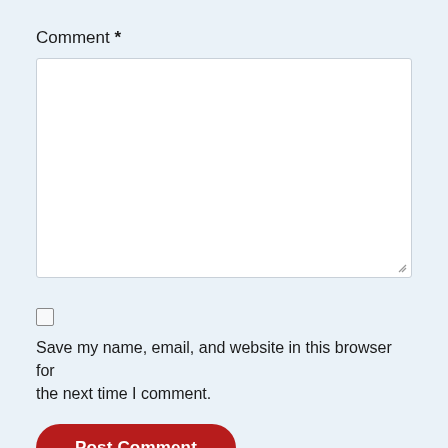Comment *
[Figure (other): Empty comment textarea input box with resize handle in bottom-right corner]
[Figure (other): Unchecked checkbox]
Save my name, email, and website in this browser for the next time I comment.
Post Comment